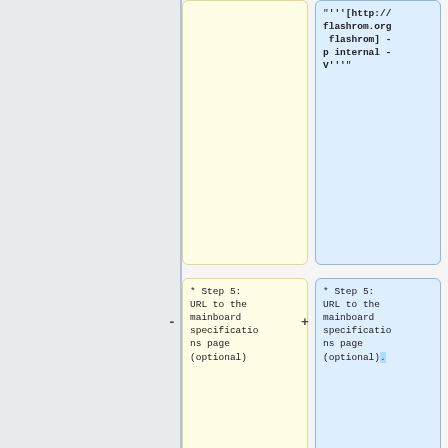"'''[http://flashrom.org flashrom] -p internal -V'''"
* Step 5: URL to the mainboard specifications page (optional)
* Step 5: URL to the mainboard specifications page (optional).
* Step 6: Any other relevant information you can provide
* Step 6: Any other relevant information you can provide.
If you
If you